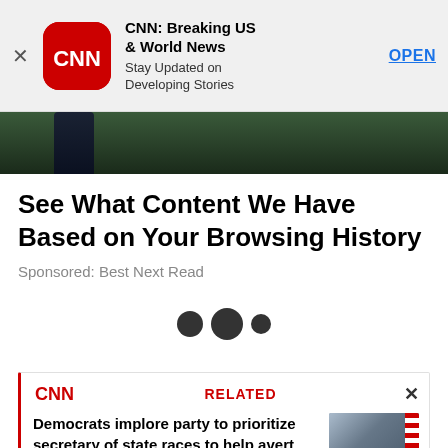[Figure (screenshot): CNN app advertisement banner with CNN logo, title 'CNN: Breaking US & World News', subtitle 'Stay Updated on Developing Stories', and OPEN link]
[Figure (photo): Partial photo strip showing figures outdoors with green foliage background]
See What Content We Have Based on Your Browsing History
Sponsored: Best Next Read
[Figure (other): Three loading dots indicating content is loading]
[Figure (screenshot): CNN Related article card with red RELATED label and close X button]
Democrats implore party to prioritize secretary of state races to help avert 2024 debacle